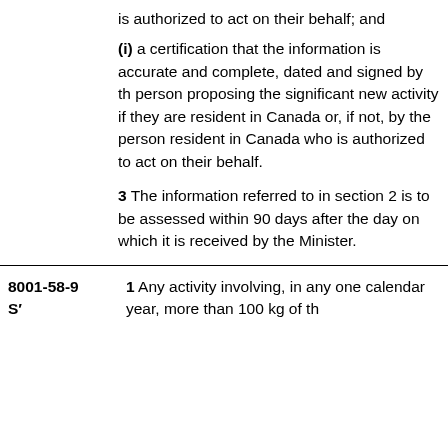is authorized to act on their behalf; and
(i) a certification that the information is accurate and complete, dated and signed by the person proposing the significant new activity if they are resident in Canada or, if not, by the person resident in Canada who is authorized to act on their behalf.
3 The information referred to in section 2 is to be assessed within 90 days after the day on which it is received by the Minister.
8001-58-9 S' 1 Any activity involving, in any one calendar year, more than 100 kg of th